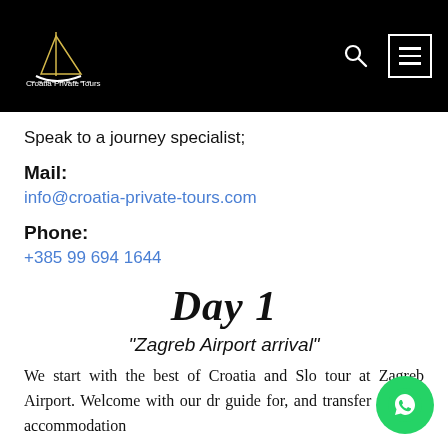Croatia Private Tours
Speak to a journey specialist;
Mail:
info@croatia-private-tours.com
Phone:
+385 99 694 1644
Day 1
"Zagreb Airport arrival"
We start with the best of Croatia and Slo... tour at Zagreb Airport. Welcome with our dr... guide for, and transfer to your accommodation